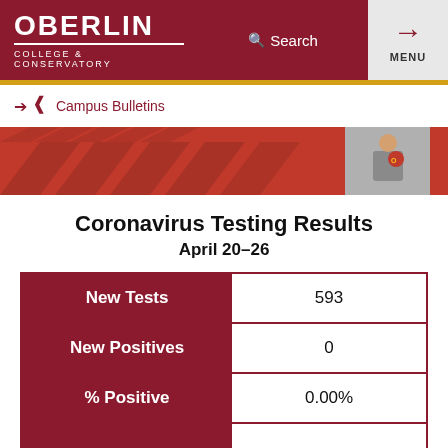OBERLIN COLLEGE & CONSERVATORY
[Figure (screenshot): Oberlin College website navigation header with logo, search bar, and menu button]
← Campus Bulletins
[Figure (photo): Red and orange banner image with a sports figure wearing Oberlin gear]
Coronavirus Testing Results April 20–26
|  |  |
| --- | --- |
| New Tests | 593 |
| New Positives | 0 |
| % Positive | 0.00% |